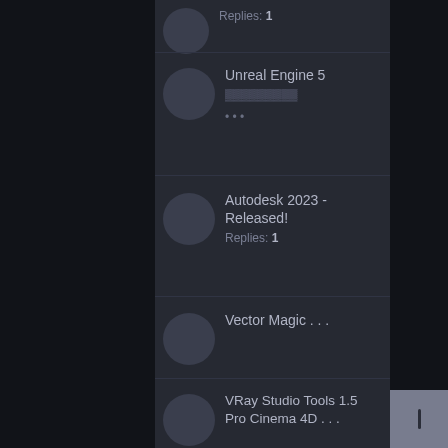Replies: 1
Unreal Engine 5 [...]
Autodesk 2023 - Released! Replies: 1
Vector Magic . . .
VRay Studio Tools 1.5 Pro Cinema 4D . . .
Chaos Player — now available . . .